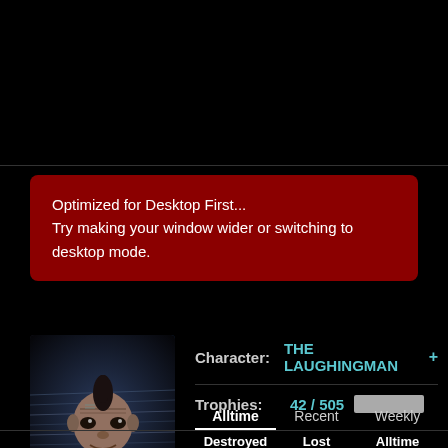Optimized for Desktop First...
Try making your window wider or switching to desktop mode.
[Figure (photo): Avatar of a bald character with a mohawk-style hair, wearing a dark outfit, in a dark sci-fi style environment]
Enlarge
Character:  THE LAUGHINGMAN +
Trophies:  42 / 505
Alltime   Recent   Weekly
| Destroyed | Lost | Alltime |
| --- | --- | --- |